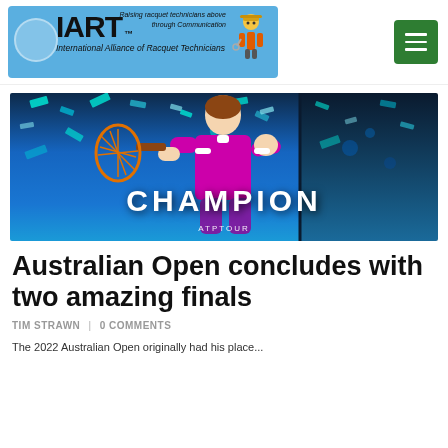IART™ International Alliance of Racquet Technicians — Raising racquet technicians above through Communication
[Figure (photo): Rafael Nadal celebrating a tennis victory in a pink/magenta outfit holding a racquet, with confetti falling. Text overlay reads CHAMPION in large white letters and ATP TOUR at the bottom.]
Australian Open concludes with two amazing finals
TIM STRAWN | 0 COMMENTS
The 2022 Australian Open originally had his place...